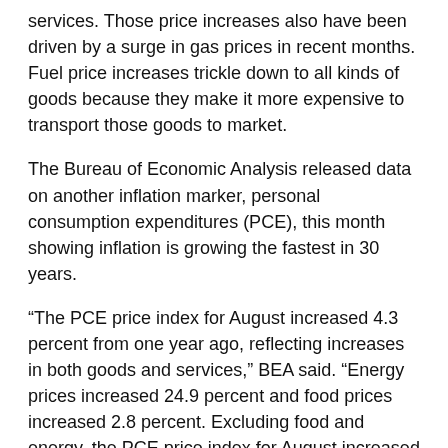services. Those price increases also have been driven by a surge in gas prices in recent months. Fuel price increases trickle down to all kinds of goods because they make it more expensive to transport those goods to market.
The Bureau of Economic Analysis released data on another inflation marker, personal consumption expenditures (PCE), this month showing inflation is growing the fastest in 30 years.
“The PCE price index for August increased 4.3 percent from one year ago, reflecting increases in both goods and services,” BEA said. “Energy prices increased 24.9 percent and food prices increased 2.8 percent. Excluding food and energy, the PCE price index for August increased 3.6 percent from one year ago.”
That increase in energy prices has shown little sign of receding, meaning Americans may need to budget even more this year for the increased heating costs on top of other expenses.
Psaki said the administration is working on the shortage issue.